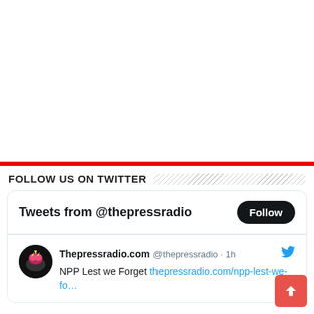[Figure (other): White blank area at top of page]
FOLLOW US ON TWITTER
Tweets from @thepressradio
Thepressradio.com @thepressradio · 1h
NPP Lest we Forget thepressradio.com/npp-lest-we-fo…